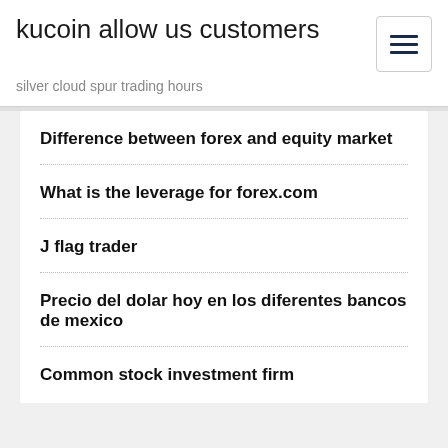kucoin allow us customers
silver cloud spur trading hours
Difference between forex and equity market
What is the leverage for forex.com
J flag trader
Precio del dolar hoy en los diferentes bancos de mexico
Common stock investment firm